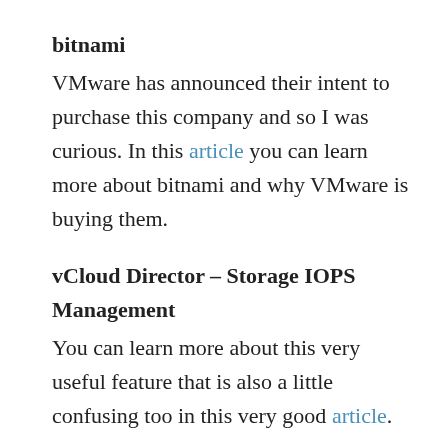bitnami
VMware has announced their intent to purchase this company and so I was curious.  In this article you can learn more about bitnami and why VMware is buying them.
vCloud Director – Storage IOPS Management
You can learn more about this very useful feature that is also a little confusing too in this very good article.
vCloud Director Object Storage Extension – Deep Look
In this article you can learn about some very interesting vCD stuff – and it is a deep learning article too!
PowerShell to Python